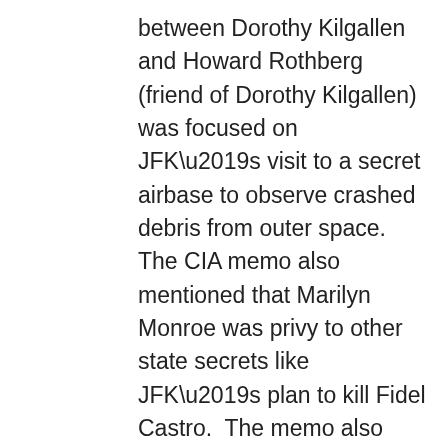between Dorothy Kilgallen and Howard Rothberg (friend of Dorothy Kilgallen) was focused on JFK's visit to a secret airbase to observe crashed debris from outer space. The CIA memo also mentioned that Marilyn Monroe was privy to other state secrets like JFK's plan to kill Fidel Castro.  The memo also mentioned of Marilyn's frequent attempts to contact JFK and Robert Kennedy, that she kept a “diary of secrets”, and that she eventually would “tell all.”